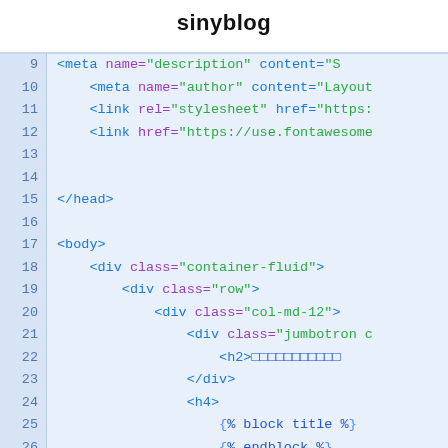sinyblog
[Figure (screenshot): Code editor screenshot showing HTML/template code lines 9-32 with syntax highlighting. Blue line numbers on left, code with purple attributes, green string values, blue tags and template tags.]